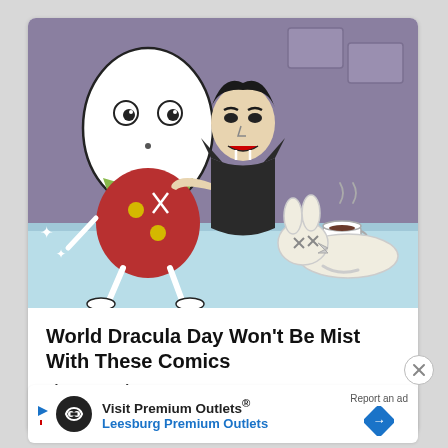[Figure (illustration): Comic illustration showing Humpty Dumpty character in red outfit running away from a Dracula vampire character who is biting or pulling at Humpty Dumpty's collar, with a knocked-over white bunny figure and a coffee cup on a table in the background. Light blue and purple color scheme.]
World Dracula Day Won't Be Mist With These Comics
The GoComics Team
May 26, 2018
Visit Premium Outlets® Leesburg Premium Outlets
Report an ad